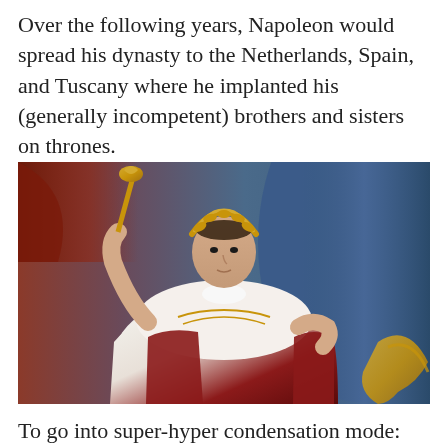Over the following years, Napoleon would spread his dynasty to the Netherlands, Spain, and Tuscany where he implanted his (generally incompetent) brothers and sisters on thrones.
[Figure (photo): A classical oil painting portrait of Napoleon Bonaparte in imperial coronation robes, wearing a golden laurel wreath crown, holding a golden scepter in his right hand, dressed in white ermine-trimmed red and gold robes, standing against a blue draped background.]
To go into super-hyper condensation mode: the